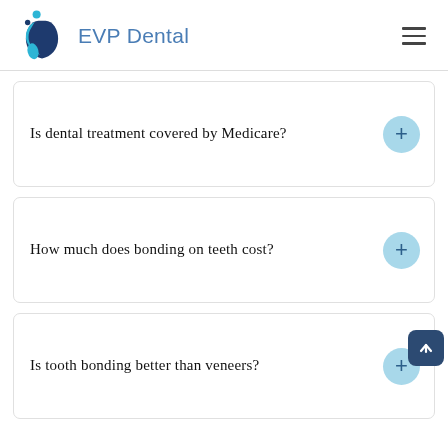[Figure (logo): EVP Dental logo — stylized drop/figure shapes in teal and dark blue, with 'EVP Dental' text in blue]
Is dental treatment covered by Medicare?
How much does bonding on teeth cost?
Is tooth bonding better than veneers?